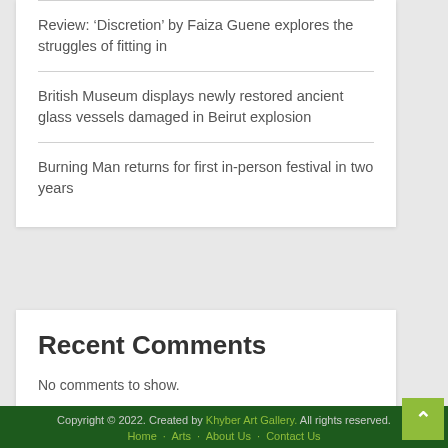Review: ‘Discretion’ by Faiza Guene explores the struggles of fitting in
British Museum displays newly restored ancient glass vessels damaged in Beirut explosion
Burning Man returns for first in-person festival in two years
Recent Comments
No comments to show.
Copyright © 2022. Created by Khyber Art Gallery. All rights reserved. Home · Arts · About Us · Contact Us